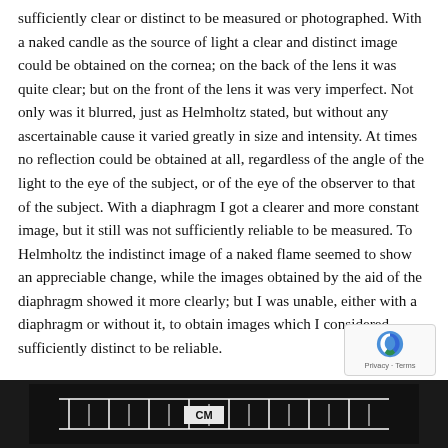sufficiently clear or distinct to be measured or photographed. With a naked candle as the source of light a clear and distinct image could be obtained on the cornea; on the back of the lens it was quite clear; but on the front of the lens it was very imperfect. Not only was it blurred, just as Helmholtz stated, but without any ascertainable cause it varied greatly in size and intensity. At times no reflection could be obtained at all, regardless of the angle of the light to the eye of the subject, or of the eye of the observer to that of the subject. With a diaphragm I got a clearer and more constant image, but it still was not sufficiently reliable to be measured. To Helmholtz the indistinct image of a naked flame seemed to show an appreciable change, while the images obtained by the aid of the diaphragm showed it more clearly; but I was unable, either with a diaphragm or without it, to obtain images which I considered sufficiently distinct to be reliable.
[Figure (photo): Black and white photograph strip showing what appears to be a measurement scale or ruler with 'CM' label visible, dark background with white markings]